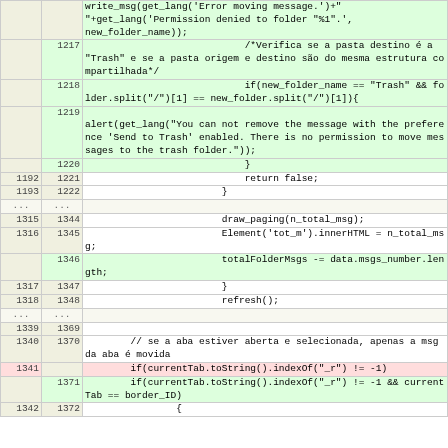[Figure (screenshot): A diff/code review view showing two columns of line numbers and a code column with green (added) and red (removed) highlighted lines. The code is JavaScript/PHP related to email folder operations.]